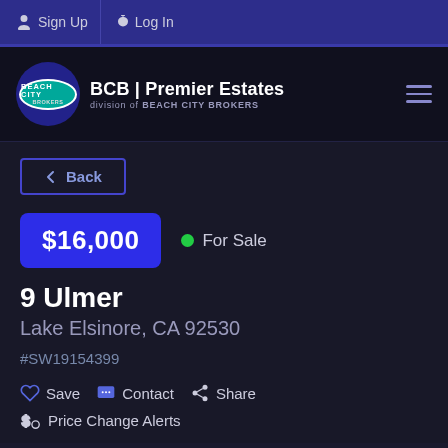Sign Up  Log In
[Figure (logo): Beach City Brokers logo with teal oval badge inside dark blue circle, with text BCB | Premier Estates division of BEACH CITY BROKERS]
Back
$16,000  For Sale
9 Ulmer
Lake Elsinore, CA 92530
#SW19154399
Save  Contact  Share
Price Change Alerts